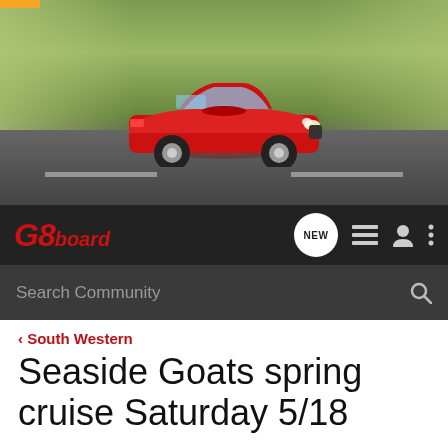[Figure (photo): Banner image of a red Pontiac G8 sedan driving on a road, with blurred background suggesting speed. Road surface visible at bottom.]
G8board
Search Community
< South Western
Seaside Goats spring cruise Saturday 5/18
→ Jump to Latest
+ Follow
1 - 4 of 4 Posts